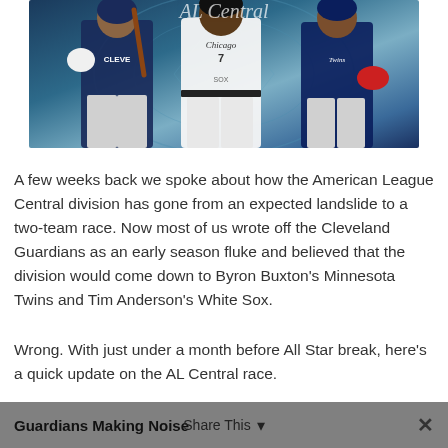[Figure (photo): Three baseball players in uniform: left player in Cleveland Guardians dark jersey, center player in Chicago White Sox white jersey #7, right player in Minnesota Twins navy jersey. They are posed on a blue background with baseball diamond graphics.]
A few weeks back we spoke about how the American League Central division has gone from an expected landslide to a two-team race. Now most of us wrote off the Cleveland Guardians as an early season fluke and believed that the division would come down to Byron Buxton's Minnesota Twins and Tim Anderson's White Sox.
Wrong. With just under a month before All Star break, here's a quick update on the AL Central race.
Guardians Making Noise